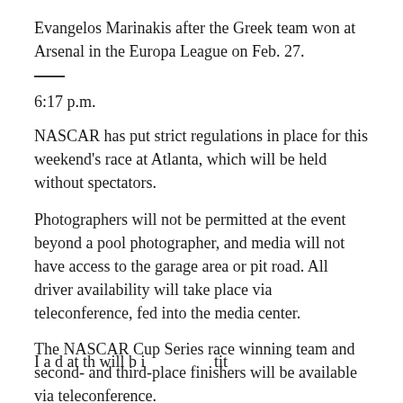Evangelos Marinakis after the Greek team won at Arsenal in the Europa League on Feb. 27.
6:17 p.m.
NASCAR has put strict regulations in place for this weekend's race at Atlanta, which will be held without spectators.
Photographers will not be permitted at the event beyond a pool photographer, and media will not have access to the garage area or pit road. All driver availability will take place via teleconference, fed into the media center.
The NASCAR Cup Series race winning team and second- and third-place finishers will be available via teleconference.
I a d at th will b i tit